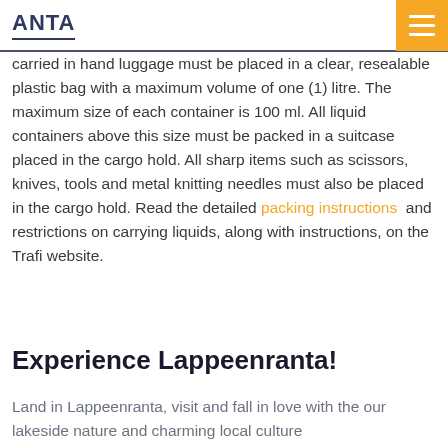ANTA
carried in hand luggage must be placed in a clear, resealable plastic bag with a maximum volume of one (1) litre. The maximum size of each container is 100 ml. All liquid containers above this size must be packed in a suitcase placed in the cargo hold. All sharp items such as scissors, knives, tools and metal knitting needles must also be placed in the cargo hold. Read the detailed packing instructions and restrictions on carrying liquids, along with instructions, on the Trafi website.
Experience Lappeenranta!
Land in Lappeenranta, visit and fall in love with the our lakeside nature and charming local culture